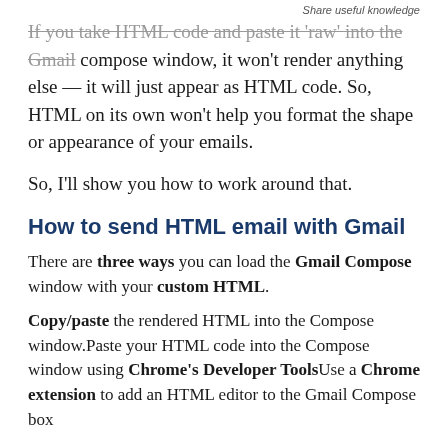Share useful knowledge
If you take HTML code and paste it 'raw' into the Gmail compose window, it won't render anything else — it will just appear as HTML code. So, HTML on its own won't help you format the shape or appearance of your emails.
So, I'll show you how to work around that.
How to send HTML email with Gmail
There are three ways you can load the Gmail Compose window with your custom HTML.
Copy/paste the rendered HTML into the Compose window.Paste your HTML code into the Compose window using Chrome's Developer ToolsUse a Chrome extension to add an HTML editor to the Gmail Compose box
My favorite technique is #2 because it gives me the most control and doesn't require an extension. Every extension